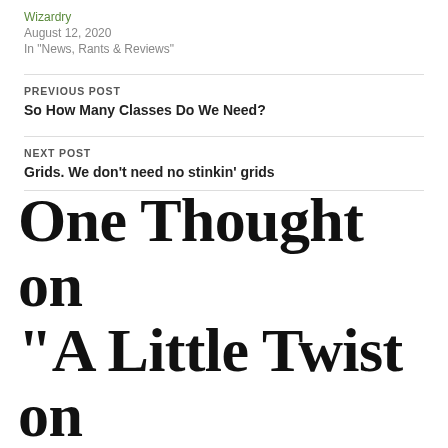Wizardry
August 12, 2020
In "News, Rants & Reviews"
PREVIOUS POST
So How Many Classes Do We Need?
NEXT POST
Grids. We don't need no stinkin' grids
ONE THOUGHT ON "A LITTLE TWIST ON